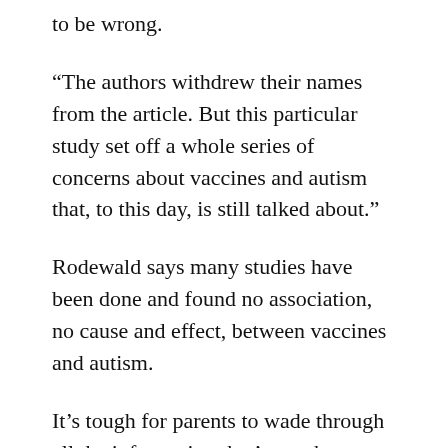to be wrong.
“The authors withdrew their names from the article. But this particular study set off a whole series of concerns about vaccines and autism that, to this day, is still talked about.”
Rodewald says many studies have been done and found no association, no cause and effect, between vaccines and autism.
It’s tough for parents to wade through all the information that’s out there these days. And there are so many vaccines to try to understand. Back in the mid-1990s, children were given 6 vaccines. Today, they’re supposed to get more than twice that many.